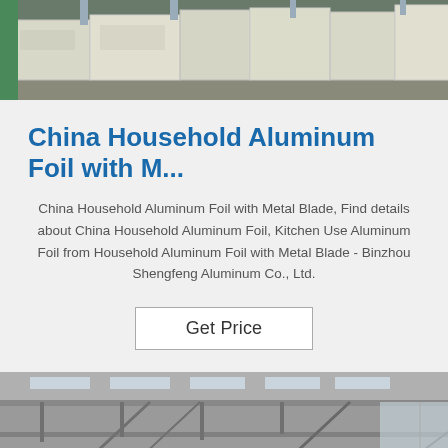[Figure (photo): Warehouse interior showing stacked boxes/pallets with industrial shelving]
China Household Aluminum Foil with M...
China Household Aluminum Foil with Metal Blade, Find details about China Household Aluminum Foil, Kitchen Use Aluminum Foil from Household Aluminum Foil with Metal Blade - Binzhou Shengfeng Aluminum Co., Ltd.
Get Price
[Figure (photo): Factory or warehouse interior showing ceiling structure, skylights, and industrial framework]